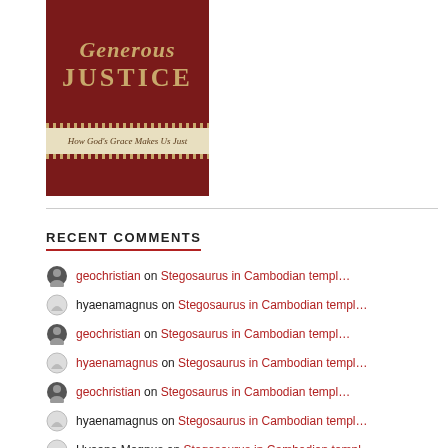[Figure (illustration): Book cover for 'Generous Justice: How God's Grace Makes Us Just' — dark red/maroon background with gold italic title 'Generous' and bold uppercase title 'JUSTICE', cream-colored banner strip with subtitle 'How God's Grace Makes Us Just', dotted decorative borders.]
RECENT COMMENTS
geochristian on Stegosaurus in Cambodian templ…
hyaenamagnus on Stegosaurus in Cambodian templ…
geochristian on Stegosaurus in Cambodian templ…
hyaenamagnus on Stegosaurus in Cambodian templ…
geochristian on Stegosaurus in Cambodian templ…
hyaenamagnus on Stegosaurus in Cambodian templ…
Hyaena Magnus on Stegosaurus in Cambodian templ…